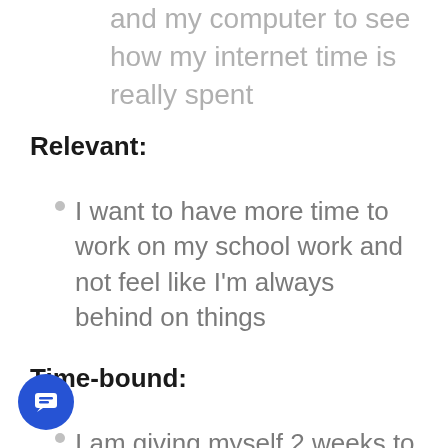and my computer to see how my internet time is really spent
Relevant:
I want to have more time to work on my school work and not feel like I'm always behind on things
Time-bound:
I am giving myself 2 weeks to analyze my time wasters and to come up with an alternative